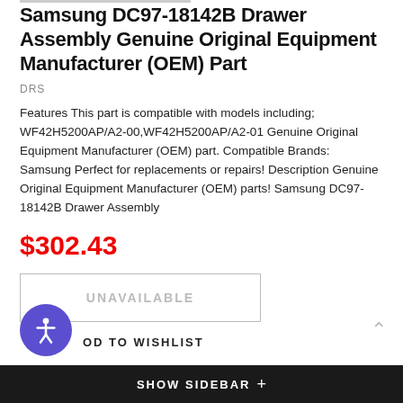Samsung DC97-18142B Drawer Assembly Genuine Original Equipment Manufacturer (OEM) Part
DRS
Features This part is compatible with models including; WF42H5200AP/A2-00,WF42H5200AP/A2-01 Genuine Original Equipment Manufacturer (OEM) part. Compatible Brands: Samsung Perfect for replacements or repairs! Description Genuine Original Equipment Manufacturer (OEM) parts! Samsung DC97-18142B Drawer Assembly
$302.43
UNAVAILABLE
ADD TO WISHLIST
SHOW SIDEBAR +